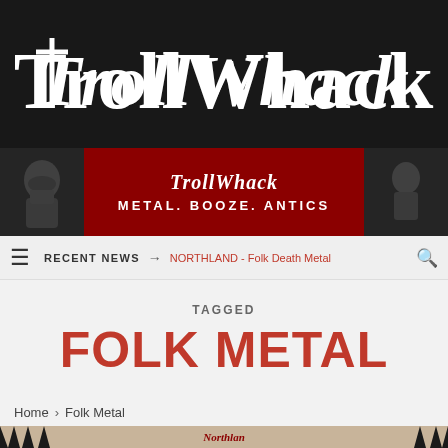[Figure (logo): TrollWhack logo in ornate white gothic/metal font on black background]
[Figure (illustration): TrollWhack banner ad showing 'METAL. BOOZE. ANTICS' in red with fantasy/metal imagery on both sides]
RECENT NEWS → NORTHLAND - Folk Death Metal
TAGGED
FOLK METAL
Home › Folk Metal
[Figure (illustration): Northland band artwork - partial view showing gothic/medieval imagery with ornate text]